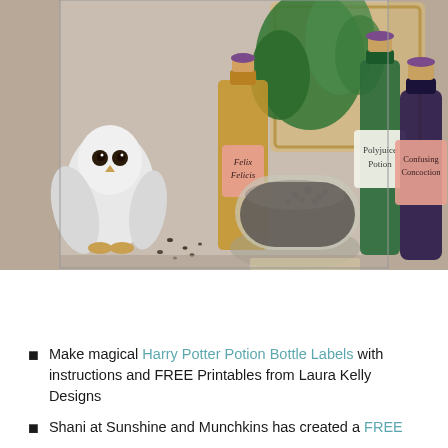[Figure (photo): Photo of Harry Potter themed potion bottles on a wooden surface. Bottles are labeled 'Felix Felicis', 'Polyjuice Potion', and 'Confusing Concoction'. A white owl plush toy is on the left. Green plants and a decorative frame are in the background. A glass bowl filled with dark seeds/beans sits in the center foreground.]
Make magical Harry Potter Potion Bottle Labels with instructions and FREE Printables from Laura Kelly Designs
Shani at Sunshine and Munchkins has created a FREE